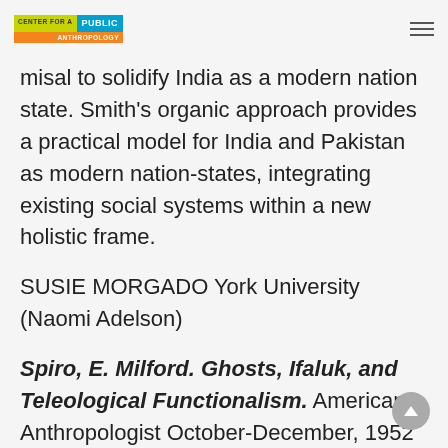CENTER FOR A PUBLIC ANTHROPOLOGY
misal to solidify India as a modern nation state. Smith's organic approach provides a practical model for India and Pakistan as modern nation-states, integrating existing social systems within a new holistic frame.
SUSIE MORGADO York University (Naomi Adelson)
Spiro, E. Milford. Ghosts, Ifaluk, and Teleological Functionalism. American Anthropologist October-December, 1952 Vol.54(4):497-503.